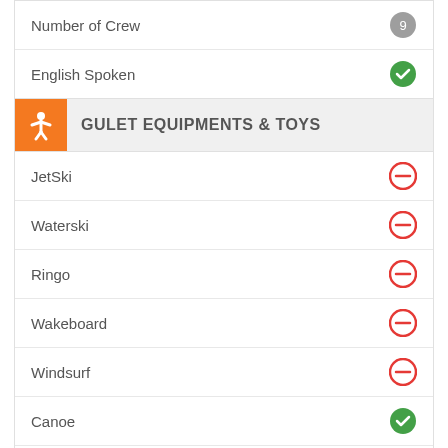Number of Crew
English Spoken
GULET EQUIPMENTS & TOYS
JetSki — No
Waterski — No
Ringo — No
Wakeboard — No
Windsurf — No
Canoe — Yes
Snorkel & Mask — Yes
Basic fishing lines — Yes
GULET URANIA » PRICE DETAILS
| Price List - 2021 (PER DAY) | AUD ($) | EUR (€) | USD ($) | GBP (£) |
| --- | --- | --- | --- | --- |